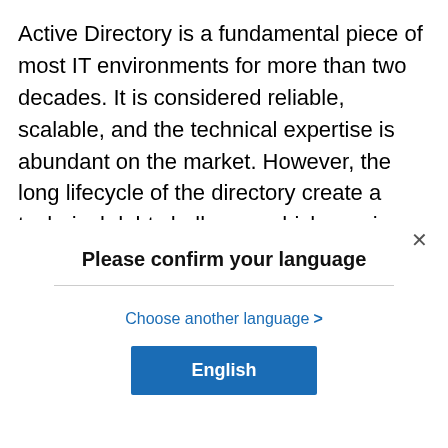Active Directory is a fundamental piece of most IT environments for more than two decades. It is considered reliable, scalable, and the technical expertise is abundant on the market. However, the long lifecycle of the directory create a technical debt challenge, which requires attention and causes a security risk. In parallel, cloud usage is exploding and most new applications are now SaaS-based. Now is probably the good time to think about reducing the
[Figure (screenshot): A modal dialog box overlaying the page content. It contains a close button (×) in the top right, the title 'Please confirm your language', a horizontal divider, a 'Choose another language >' link in blue, and a blue 'English' button.]